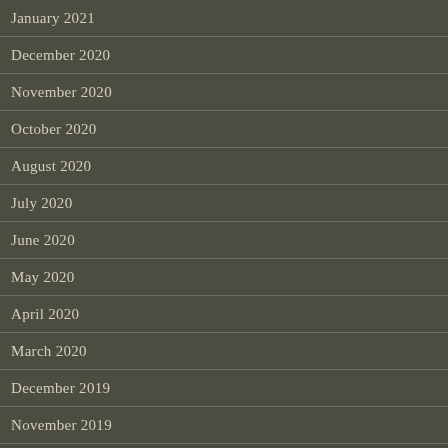January 2021
December 2020
November 2020
October 2020
August 2020
July 2020
June 2020
May 2020
April 2020
March 2020
December 2019
November 2019
October 2019